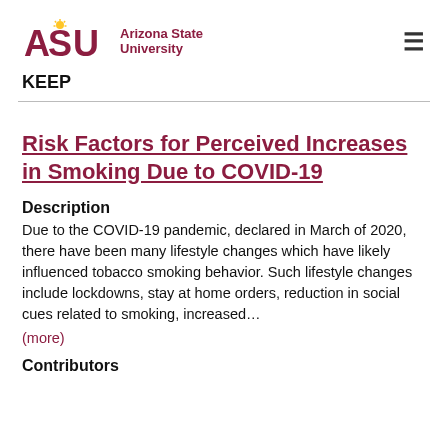[Figure (logo): Arizona State University logo with ASU text and sunburst icon]
KEEP
Risk Factors for Perceived Increases in Smoking Due to COVID-19
Description
Due to the COVID-19 pandemic, declared in March of 2020, there have been many lifestyle changes which have likely influenced tobacco smoking behavior. Such lifestyle changes include lockdowns, stay at home orders, reduction in social cues related to smoking, increased…
(more)
Contributors